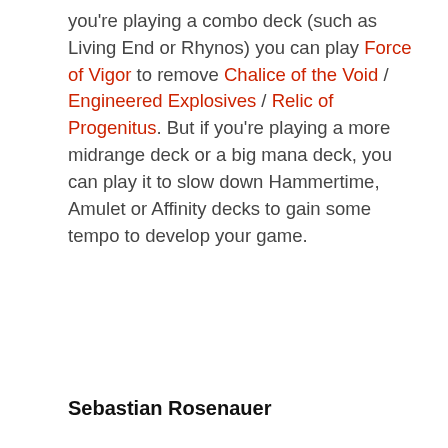you're playing a combo deck (such as Living End or Rhynos) you can play Force of Vigor to remove Chalice of the Void / Engineered Explosives / Relic of Progenitus. But if you're playing a more midrange deck or a big mana deck, you can play it to slow down Hammertime, Amulet or Affinity decks to gain some tempo to develop your game.
Sebastian Rosenauer